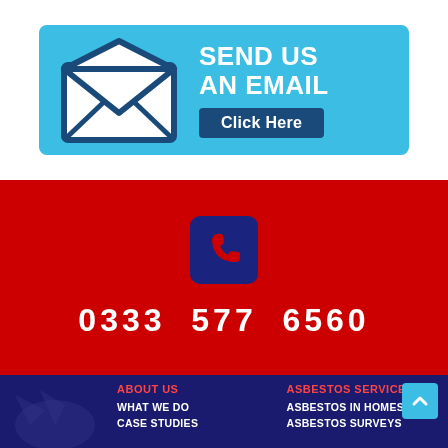[Figure (infographic): Email banner with envelope icon, 'SEND US AN EMAIL' text in white on cyan background, and a dark blue 'Click Here' button]
[Figure (infographic): Red background section with a dark blue rounded square containing a red phone icon, and white phone number '0333 577 6560' below]
0333 577 6560
[Figure (infographic): Dark blue footer with two columns: 'ABOUT US' with links 'WHAT WE DO', 'CASE STUDIES', and 'ASBESTOS SERVICES' with links 'ASBESTOS IN HOMES', 'ASBESTOS SURVEYS']